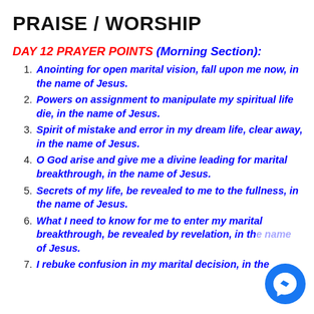PRAISE / WORSHIP
DAY 12 PRAYER POINTS (Morning Section):
Anointing for open marital vision, fall upon me now, in the name of Jesus.
Powers on assignment to manipulate my spiritual life die, in the name of Jesus.
Spirit of mistake and error in my dream life, clear away, in the name of Jesus.
O God arise and give me a divine leading for marital breakthrough, in the name of Jesus.
Secrets of my life, be revealed to me to the fullness, in the name of Jesus.
What I need to know for me to enter my marital breakthrough, be revealed by revelation, in the name of Jesus.
I rebuke confusion in my marital decision, in the